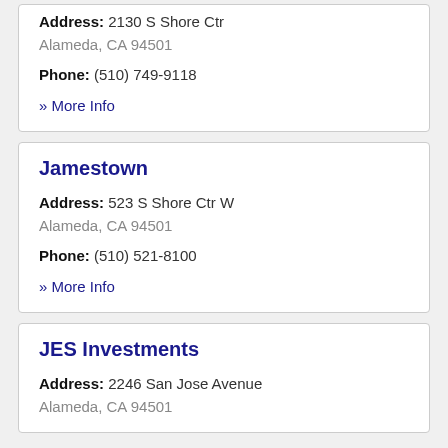Address: 2130 S Shore Ctr
Alameda, CA 94501
Phone: (510) 749-9118
» More Info
Jamestown
Address: 523 S Shore Ctr W
Alameda, CA 94501
Phone: (510) 521-8100
» More Info
JES Investments
Address: 2246 San Jose Avenue
Alameda, CA 94501